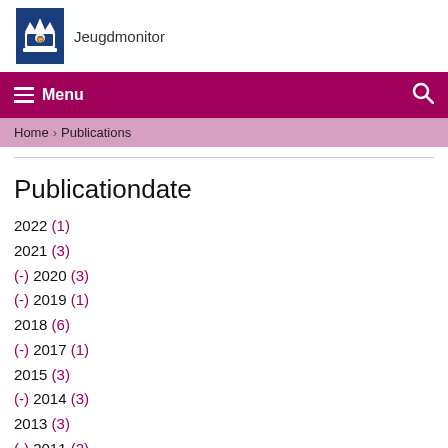[Figure (logo): Jeugdmonitor logo with Dutch government coat of arms on dark blue background, followed by text 'Jeugdmonitor']
Menu | Search
Home > Publications
Publicationdate
2022 (1)
2021 (3)
(-) 2020 (3)
(-) 2019 (1)
2018 (6)
(-) 2017 (1)
2015 (3)
(-) 2014 (3)
2013 (3)
(-) 2011 (2)